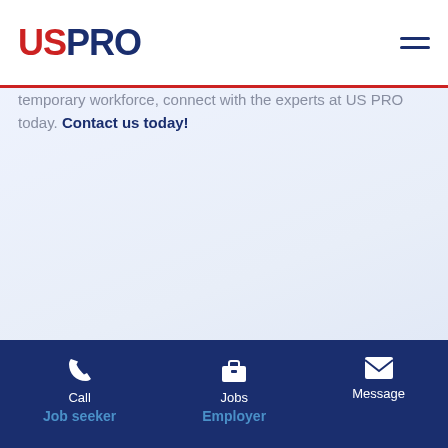[Figure (logo): USPRO logo with US in red and PRO in dark navy blue]
temporary workforce, connect with the experts at US PRO today. Contact us today!
Call | Jobs | Message | Job seeker | Employer